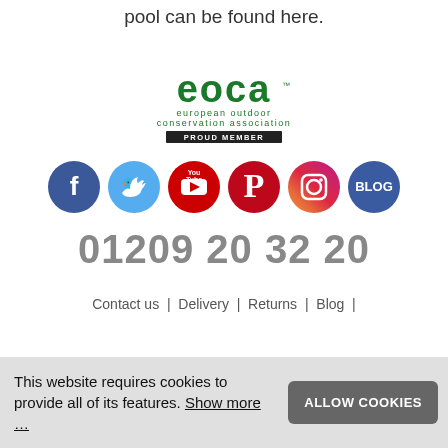Bungee straps, hoses and even a quick fill swimming pool can be found here.
[Figure (logo): EOCA - European Outdoor Conservation Association logo with 'PROUD MEMBER' banner]
[Figure (infographic): Row of social media icons: Facebook, Twitter, YouTube, Pinterest, Instagram, Blog]
01209 20 32 20
Contact us | Delivery | Returns | Blog |
This website requires cookies to provide all of its features. Show more …